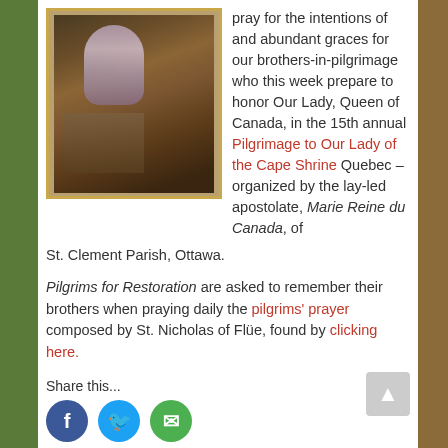[Figure (illustration): A religious painting in an ornate gold frame depicting the Virgin Mary with angels and figures, in baroque style — representing Our Lady, Queen of Canada.]
pray for the intentions of and abundant graces for our brothers-in-pilgrimage who this week prepare to honor Our Lady, Queen of Canada, in the 15th annual Pilgrimage to Our Lady of the Cape Shrine Quebec – organized by the lay-led apostolate, Marie Reine du Canada, of St. Clement Parish, Ottawa.
Pilgrims for Restoration are asked to remember their brothers when praying daily the pilgrims' prayer composed by St. Nicholas of Flüe, found by clicking here.
Share this...